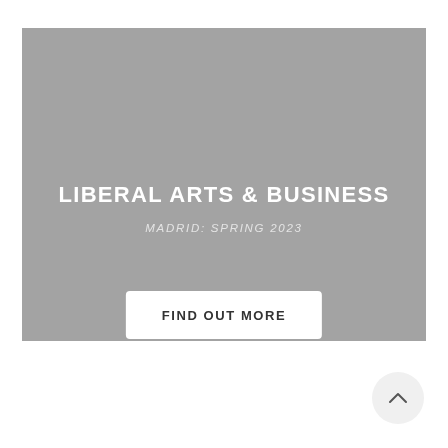[Figure (other): Gray banner image placeholder for Liberal Arts & Business Madrid Spring 2023 program, with overlaid text title and subtitle]
LIBERAL ARTS & BUSINESS
MADRID: SPRING 2023
FIND OUT MORE